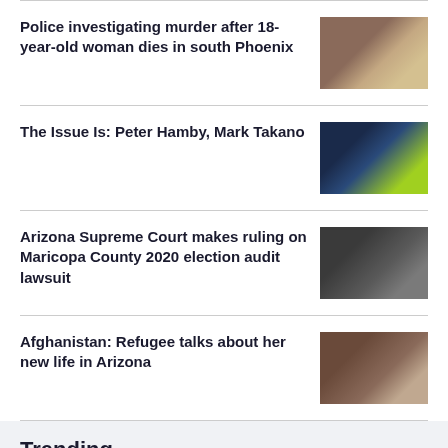Police investigating murder after 18-year-old woman dies in south Phoenix
[Figure (photo): Photo of a young woman in red and crime scene with yellow tape]
The Issue Is: Peter Hamby, Mark Takano
[Figure (photo): TV show screenshot with Mark Takano and Peter Hamby side by side]
Arizona Supreme Court makes ruling on Maricopa County 2020 election audit lawsuit
[Figure (photo): People working at election audit facility]
Afghanistan: Refugee talks about her new life in Arizona
[Figure (photo): Two women, one in hijab, one in white]
Trending
[Figure (photo): Car on road thumbnail for trending item 1]
Suspect takes own life after shootout